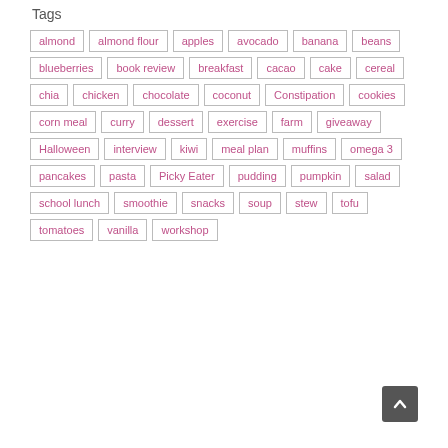Tags
almond
almond flour
apples
avocado
banana
beans
blueberries
book review
breakfast
cacao
cake
cereal
chia
chicken
chocolate
coconut
Constipation
cookies
corn meal
curry
dessert
exercise
farm
giveaway
Halloween
interview
kiwi
meal plan
muffins
omega 3
pancakes
pasta
Picky Eater
pudding
pumpkin
salad
school lunch
smoothie
snacks
soup
stew
tofu
tomatoes
vanilla
workshop